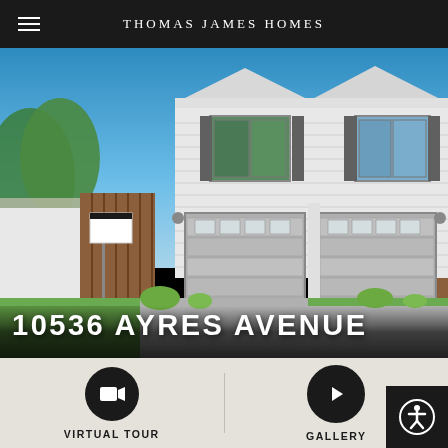THOMAS JAMES HOMES
[Figure (photo): Exterior photo of a two-story white modern home with two-car garage, landscaped yard, blue sky background, with a real estate sign on the left.]
10536 AYRES AVENUE
VIRTUAL TOUR
GALLERY